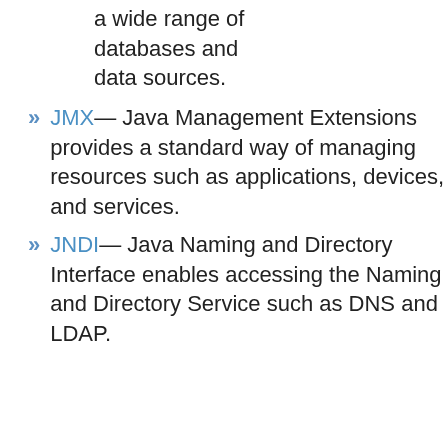a wide range of databases and data sources.
JMX— Java Management Extensions provides a standard way of managing resources such as applications, devices, and services.
JNDI— Java Naming and Directory Interface enables accessing the Naming and Directory Service such as DNS and LDAP.